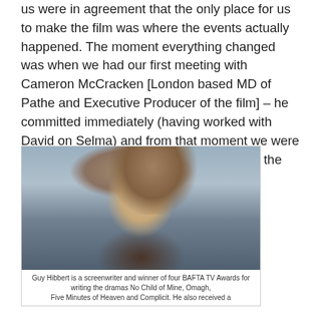us were in agreement that the only place for us to make the film was where the events actually happened. The moment everything changed was when we had our first meeting with Cameron McCracken [London based MD of Pathe and Executive Producer of the film] – he committed immediately (having worked with David on Selma) and from that moment we were on our way, eventually joined by the BBC, the BFI and Ingenious.
[Figure (photo): Portrait photo of Guy Hibbert, a man with medium-length wavy hair wearing a purple jacket and blue scarf, photographed at an event with a blurred background.]
Guy Hibbert is a screenwriter and winner of four BAFTA TV Awards for writing the dramas No Child of Mine, Omagh, Five Minutes of Heaven and Complicit. He also received a